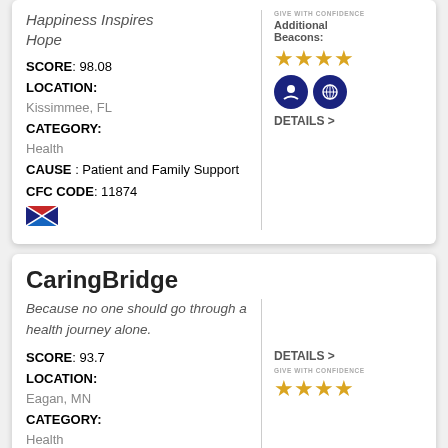Happiness Inspires Hope
SCORE: 98.08
LOCATION: Kissimmee, FL
CATEGORY: Health
CAUSE : Patient and Family Support
CFC CODE: 11874
Additional Beacons:
DETAILS >
CaringBridge
Because no one should go through a health journey alone.
SCORE: 93.7
LOCATION: Eagan, MN
CATEGORY: Health
DETAILS >